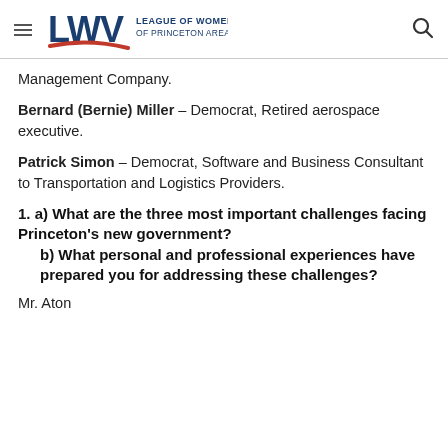League of Women Voters of Princeton Area
Management Company.
Bernard (Bernie) Miller – Democrat, Retired aerospace executive.
Patrick Simon – Democrat, Software and Business Consultant to Transportation and Logistics Providers.
1. a) What are the three most important challenges facing Princeton's new government?
   b) What personal and professional experiences have prepared you for addressing these challenges?
Mr. Aton